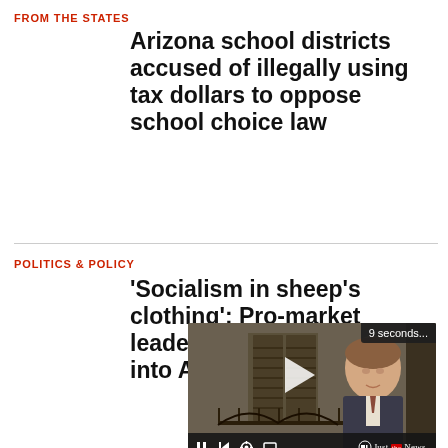FROM THE STATES
Arizona school districts accused of illegally using tax dollars to oppose school choice law
POLITICS & POLICY
'Socialism in sheep's clothing': Pro-market leaders rip ESG creeping into America
[Figure (screenshot): Video player showing a man in a suit being interviewed, with a '9 seconds...' timer badge, play button overlay, and video controls bar at bottom with Just the News logo]